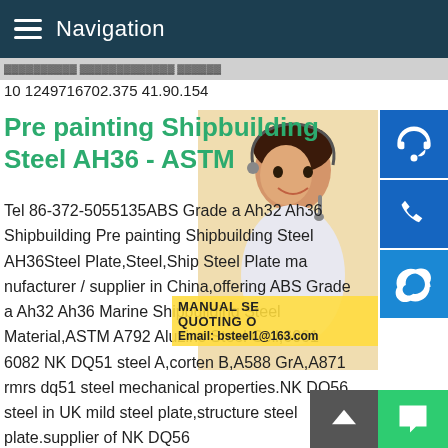Navigation
10 1249716702.375 41.90.154
Pre painting Shipbuilding Steel AH36 - ASTM
Tel 86-372-5055135ABS Grade a Ah32 Ah36 Shipbuilding Pre painting Shipbuilding Steel AH36Steel Plate,Steel,Ship Steel Plate manufacturer / supplier in China,offering ABS Grade a Ah32 Ah36 Marine Shipbuilding Steel Material,ASTM A792 Aluzinc Steel Coil,6061 6082 NK DQ51 steel A,corten B,A588 GrA,A871 rmrs dq51 steel mechanical properties.NK DQ56 steel in UK mild steel plate,structure steel plate.supplier of NK DQ56 density,A36,Q235B,Q345B steel plate .CCS A40 steel mechanical properties China supplier,Our steel section for shipbuilding products have been certified by classification societies such as